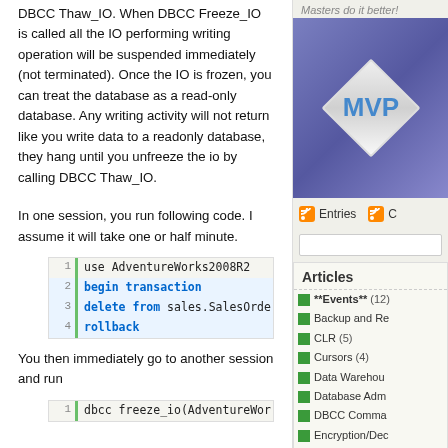DBCC Thaw_IO. When DBCC Freeze_IO is called all the IO performing writing operation will be suspended immediately (not terminated). Once the IO is frozen, you can treat the database as a read-only database. Any writing activity will not return like you write data to a readonly database, they hang until you unfreeze the io by calling DBCC Thaw_IO.
In one session, you run following code. I assume it will take one or half minute.
use AdventureWorks2008R2
begin transaction
delete from sales.SalesOrde
rollback
You then immediately go to another session and run
dbcc freeze_io(AdventureWor
[Figure (logo): Microsoft MVP badge - diamond shape with MVP text on purple background]
Masters do it better!
Entries
Articles
**Events** (12)
Backup and Re
CLR (5)
Cursors (4)
Data Warehou
Database Adm
DBCC Comma
Encryption/Dec
Extended Eve